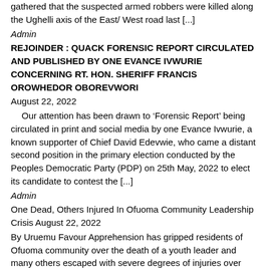gathered that the suspected armed robbers were killed along the Ughelli axis of the East/ West road last [...]
Admin
REJOINDER : QUACK FORENSIC REPORT CIRCULATED AND PUBLISHED BY ONE EVANCE IVWURIE CONCERNING RT. HON. SHERIFF FRANCIS OROWHEDOR OBOREVWORI
August 22, 2022
Our attention has been drawn to ‘Forensic Report’ being circulated in print and social media by one Evance Ivwurie, a known supporter of Chief David Edevwie, who came a distant second position in the primary election conducted by the Peoples Democratic Party (PDP) on 25th May, 2022 to elect its candidate to contest the [...]
Admin
One Dead, Others Injured In Ofuoma Community Leadership Crisis August 22, 2022
By Uruemu Favour Apprehension has gripped residents of Ofuoma community over the death of a youth leader and many others escaped with severe degrees of injuries over